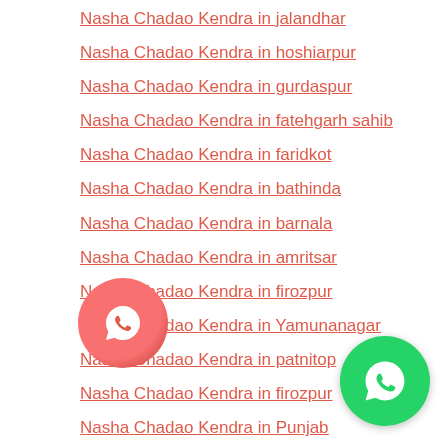Nasha Chadao Kendra in jalandhar
Nasha Chadao Kendra in hoshiarpur
Nasha Chadao Kendra in gurdaspur
Nasha Chadao Kendra in fatehgarh sahib
Nasha Chadao Kendra in faridkot
Nasha Chadao Kendra in bathinda
Nasha Chadao Kendra in barnala
Nasha Chadao Kendra in amritsar
Nasha Chadao Kendra in firozpur
Nasha Chadao Kendra in Yamunanagar
Nasha Chadao Kendra in patnitop
Nasha Chadao Kendra in firozpur
Nasha Chadao Kendra in Punjab
Nasha Chadao Kendra in Mansa
De Addiction Center in Mansa